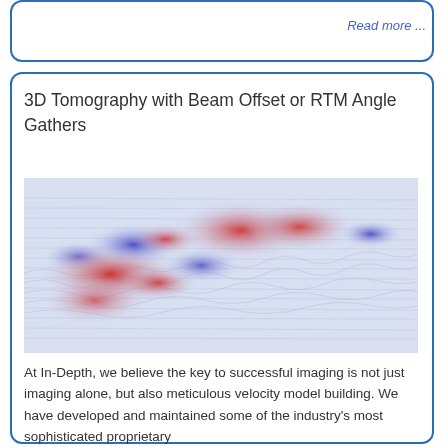Read more ...
3D Tomography with Beam Offset or RTM Angle Gathers
[Figure (photo): Seismic tomography image showing red and blue amplitude anomalies with wave-propagation layering patterns, used to illustrate 3D beam-offset or RTM angle gather results.]
At In-Depth, we believe the key to successful imaging is not just imaging alone, but also meticulous velocity model building. We have developed and maintained some of the industry's most sophisticated proprietary